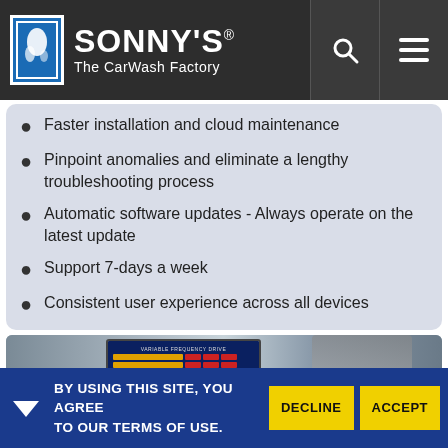SONNY'S The CarWash Factory
Faster installation and cloud maintenance
Pinpoint anomalies and eliminate a lengthy troubleshooting process
Automatic software updates - Always operate on the latest update
Support 7-days a week
Consistent user experience across all devices
[Figure (photo): Person using a touchscreen kiosk display showing a variable frequency drive interface]
BY USING THIS SITE, YOU AGREE TO OUR TERMS OF USE.